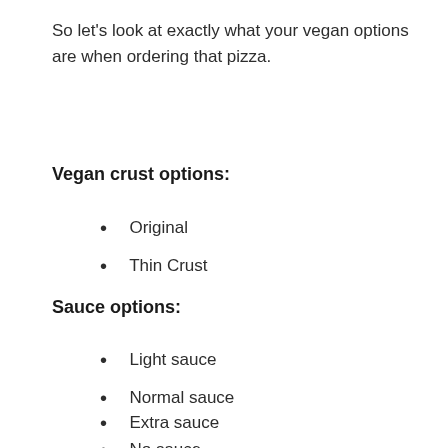So let's look at exactly what your vegan options are when ordering that pizza.
Vegan crust options:
Original
Thin Crust
Sauce options:
Light sauce
Normal sauce
Extra sauce
No sauce